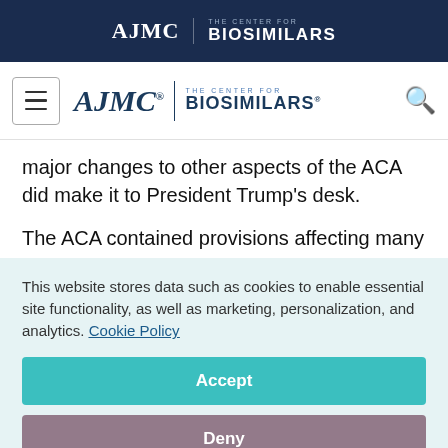AJMC | THE CENTER FOR BIOSIMILARS
[Figure (logo): AJMC The Center for Biosimilars navigation logo with hamburger menu and search icon]
major changes to other aspects of the ACA did make it to President Trump’s desk.
The ACA contained provisions affecting many aspects of U.S. law, from Medicare to FDA to the healthcare workforce. Restoring pre-ACA law
This website stores data such as cookies to enable essential site functionality, as well as marketing, personalization, and analytics. Cookie Policy
Accept
Deny